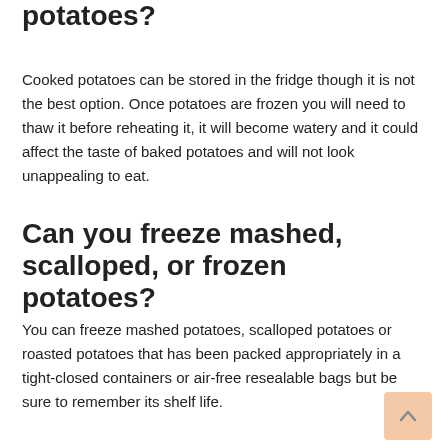potatoes?
Cooked potatoes can be stored in the fridge though it is not the best option. Once potatoes are frozen you will need to thaw it before reheating it, it will become watery and it could affect the taste of baked potatoes and will not look unappealing to eat.
Can you freeze mashed, scalloped, or frozen potatoes?
You can freeze mashed potatoes, scalloped potatoes or roasted potatoes that has been packed appropriately in a tight-closed containers or air-free resealable bags but be sure to remember its shelf life.